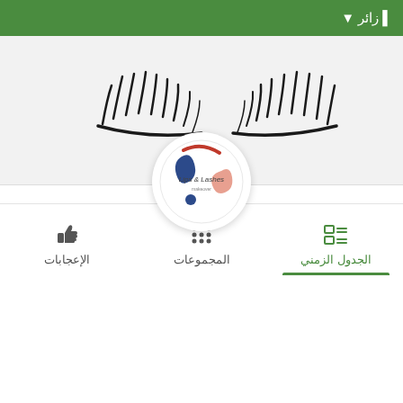زائر ▾
[Figure (illustration): Decorative eyelashes banner image at the top of a Facebook-style page]
[Figure (logo): Lips & Lashes circular logo with colorful abstract shapes (blue, red, peach) and text 'Lips & Lashes']
Lips Lashes
الجدول الزمني
المجموعات
الإعجابات